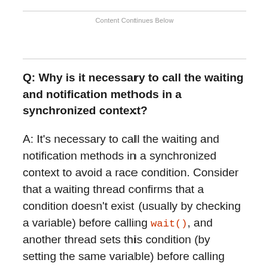Content Continues Below
Q: Why is it necessary to call the waiting and notification methods in a synchronized context?
A: It's necessary to call the waiting and notification methods in a synchronized context to avoid a race condition. Consider that a waiting thread confirms that a condition doesn't exist (usually by checking a variable) before calling wait(), and another thread sets this condition (by setting the same variable) before calling notify(). Given this scenario, the race condition occurs as follows: